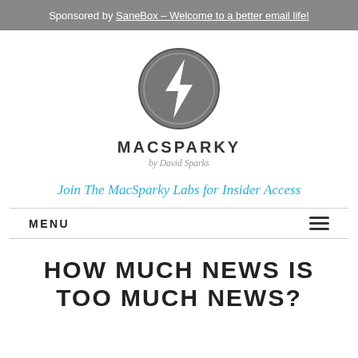Sponsored by SaneBox – Welcome to a better email life!
[Figure (logo): MacSparky logo: a grey circle with a white lightning bolt inside, with text MACSPARKY and by David Sparks below]
Join The MacSparky Labs for Insider Access
MENU
HOW MUCH NEWS IS TOO MUCH NEWS?